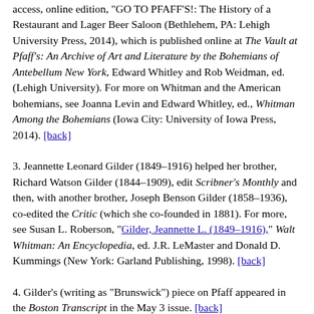access, online edition, "GO TO PFAFF'S!: The History of a Restaurant and Lager Beer Saloon (Bethlehem, PA: Lehigh University Press, 2014), which is published online at The Vault at Pfaff's: An Archive of Art and Literature by the Bohemians of Antebellum New York, Edward Whitley and Rob Weidman, ed. (Lehigh University). For more on Whitman and the American bohemians, see Joanna Levin and Edward Whitley, ed., Whitman Among the Bohemians (Iowa City: University of Iowa Press, 2014). [back]
3. Jeannette Leonard Gilder (1849–1916) helped her brother, Richard Watson Gilder (1844–1909), edit Scribner's Monthly and then, with another brother, Joseph Benson Gilder (1858–1936), co-edited the Critic (which she co-founded in 1881). For more, see Susan L. Roberson, "Gilder, Jeannette L. (1849–1916)," Walt Whitman: An Encyclopedia, ed. J.R. LeMaster and Donald D. Kummings (New York: Garland Publishing, 1998). [back]
4. Gilder's (writing as "Brunswick") piece on Pfaff appeared in the Boston Transcript in the May 3 issue. [back]